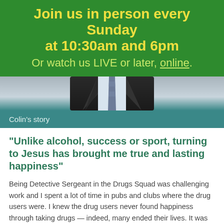Join us in person every Sunday at 10:30am and 6pm Or watch us LIVE or later, online.
[Figure (photo): A man in a dark suit and striped tie, photographed from the chest up against a light background.]
Colin's story
“Unlike alcohol, success or sport, turning to Jesus has brought me true and lasting happiness”
Being Detective Sergeant in the Drugs Squad was challenging work and I spent a lot of time in pubs and clubs where the drug users were. I knew the drug users never found happiness through taking drugs — indeed, many ended their lives. It was such a contrast to the young people at Bethel, whose faces